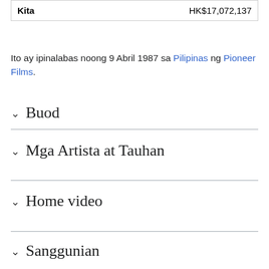| Kita | HK$17,072,137 |
| --- | --- |
Ito ay ipinalabas noong 9 Abril 1987 sa Pilipinas ng Pioneer Films.
Buod
Mga Artista at Tauhan
Home video
Sanggunian
Kawing panlabas